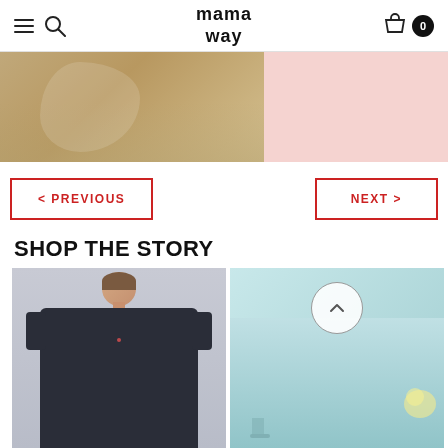mamaway
[Figure (photo): Hero banner showing maternity clothing — left half shows a knit cardigan on a pregnant woman, right half is a soft pink background]
< PREVIOUS
NEXT >
SHOP THE STORY
[Figure (photo): Woman wearing a dark navy short-sleeve maternity dress with small print pattern, shown from front, light grey background]
[Figure (photo): Light mint/blue maternity garment with floral detail and tie, partial view. Back-to-top button (chevron up in circle) overlaid.]